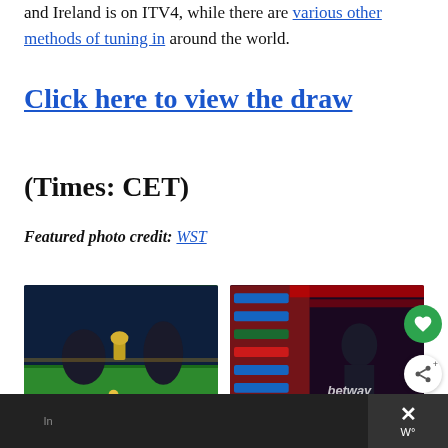and Ireland is on ITV4, while there are various other methods of tuning in around the world.
Click here to view the draw (Times: CET)
Featured photo credit: WST
[Figure (photo): Snooker players around a green table with a trophy - Superb Stephen Maguire Wins 2020 Tour Championship]
[Figure (photo): Ding Junhui posing in front of Betway branded backdrop - Ding Junhui Wins Third UK Championship Title]
Superb Stephen Maguire Wins 2020 Tour Championship
Ding Junhui Wins Third UK Championship Title